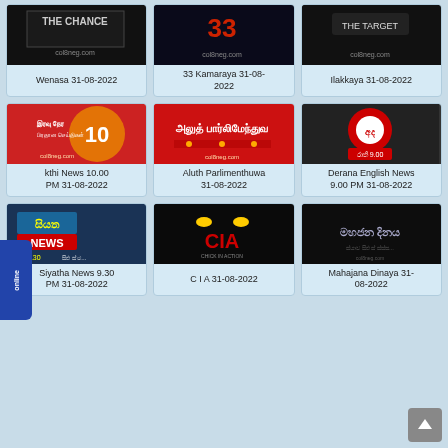[Figure (screenshot): Grid of TV show thumbnail cards with titles. Row 1: Wenasa 31-08-2022, 33 Kamaraya 31-08-2022, Ilakkaya 31-08-2022. Row 2: Sakthi News 10.00 PM 31-08-2022, Aluth Parlimenthuwa 31-08-2022, Derana English News 9.00 PM 31-08-2022. Row 3: Siyatha News 9.30 PM 31-08-2022, C I A 31-08-2022, Mahajana Dinaya 31-08-2022.]
Wenasa 31-08-2022
33 Kamaraya 31-08-2022
Ilakkaya 31-08-2022
Sakthi News 10.00 PM 31-08-2022
Aluth Parlimenthuwa 31-08-2022
Derana English News 9.00 PM 31-08-2022
Siyatha News 9.30 PM 31-08-2022
C I A 31-08-2022
Mahajana Dinaya 31-08-2022